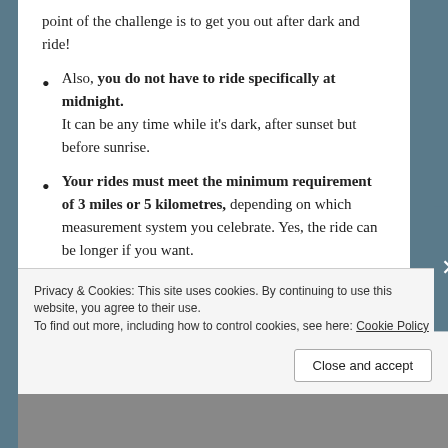point of the challenge is to get you out after dark and ride!
Also, you do not have to ride specifically at midnight. It can be any time while it's dark, after sunset but before sunrise.
Your rides must meet the minimum requirement of 3 miles or 5 kilometres, depending on which measurement system you celebrate. Yes, the ride can be longer if you want.
You must do at least three rides between 1 January 2022 and 14 February 2022.
Privacy & Cookies: This site uses cookies. By continuing to use this website, you agree to their use. To find out more, including how to control cookies, see here: Cookie Policy